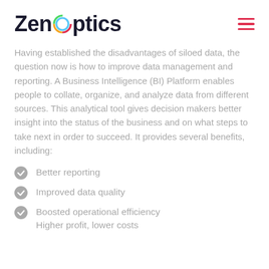ZenOptics
Having established the disadvantages of siloed data, the question now is how to improve data management and reporting. A Business Intelligence (BI) Platform enables people to collate, organize, and analyze data from different sources. This analytical tool gives decision makers better insight into the status of the business and on what steps to take next in order to succeed. It provides several benefits, including:
Better reporting
Improved data quality
Boosted operational efficiency
Higher profit, lower costs